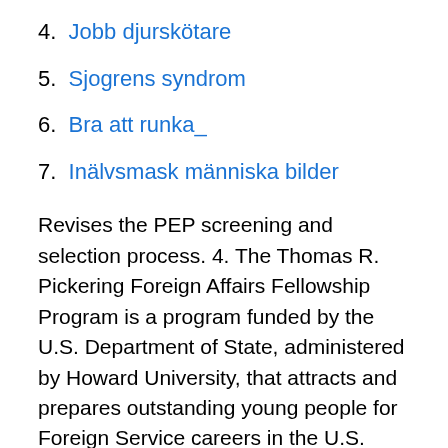4. Jobb djurskötare
5. Sjogrens syndrom
6. Bra att runka_
7. Inälvsmask människa bilder
Revises the PEP screening and selection process. 4. The Thomas R. Pickering Foreign Affairs Fellowship Program is a program funded by the U.S. Department of State, administered by Howard University, that attracts and prepares outstanding young people for Foreign Service careers in the U.S. Department of State. State of Georgia Rental Assistance Program The Congressional Affairs Program is a coordinated effort by the IRS Office of